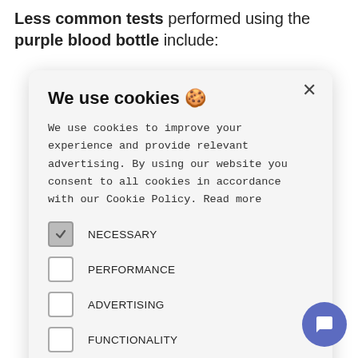Less common tests performed using the purple blood bottle include:
[Figure (screenshot): Cookie consent modal dialog with title 'We use cookies 🍪', body text about cookie policy, checkboxes for NECESSARY (checked), PERFORMANCE, ADVERTISING, FUNCTIONALITY, OTHER, and an ACCEPT ALL button]
8 times to mix the blood is however ottle.